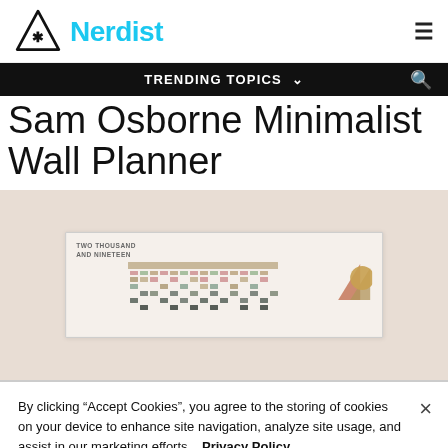Nerdist
Sam Osborne Minimalist Wall Planner
[Figure (photo): Photo of a minimalist wall planner calendar for Two Thousand and Nineteen with geometric decorative elements in terracotta, olive, and gold tones on a light pink/beige background.]
By clicking “Accept Cookies”, you agree to the storing of cookies on your device to enhance site navigation, analyze site usage, and assist in our marketing efforts.   Privacy Policy
Cookies Settings   Accept Cookies